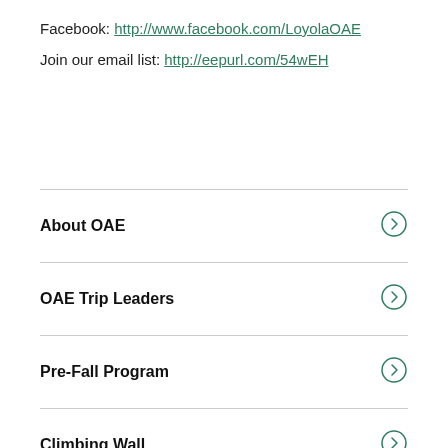Facebook: http://www.facebook.com/LoyolaOAE
Join our email list: http://eepurl.com/54wEH
About OAE
OAE Trip Leaders
Pre-Fall Program
Climbing Wall
Basecamp